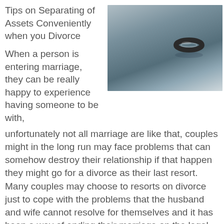Tips on Separating of Assets Conveniently when you Divorce
[Figure (photo): A wedding ring resting on a soft surface, blue-toned photograph]
When a person is entering marriage, they can be really happy to experience having someone to be with, unfortunately not all marriage are like that, couples might in the long run may face problems that can somehow destroy their relationship if that happen they might go for a divorce as their last resort. Many couples may choose to resorts on divorce just to cope with the problems that the husband and wife cannot resolve for themselves and it has been a way of ending their marriage on the legal possible basis with some agreements along the decision of undertaking the processes. Life can be really hard and it may push people to the limit especially to the couples that are in marriage, they might experience struggles in between their togetherness that can be unbearable at some times, this